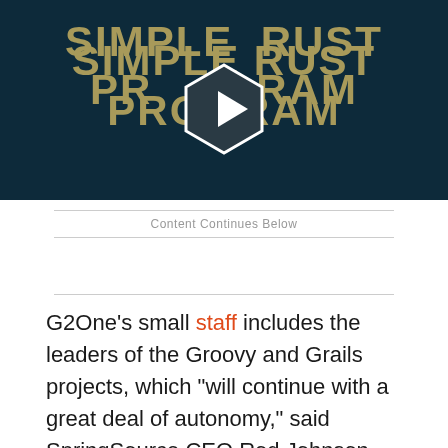[Figure (screenshot): Video thumbnail with dark teal background showing text 'SIMPLE RUST PROGRAM' in gold/olive uppercase letters with a play button icon in the center]
Content Continues Below
G2One's small staff includes the leaders of the Groovy and Grails projects, which "will continue with a great deal of autonomy," said SpringSource CEO Rod Johnson. SpringSource will hire additional staff and put resources into Grails tooling over time, he added.